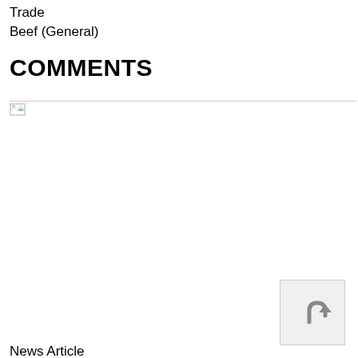Trade
Beef (General)
COMMENTS
[Figure (other): Broken image placeholder icon with a thin horizontal rule above it]
[Figure (other): Back to top button icon: an upward arrow with a curved base, inside a light gray square button]
News Article